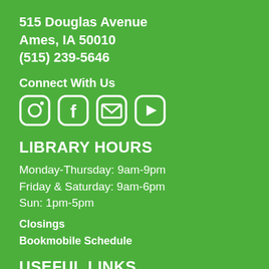515 Douglas Avenue
Ames, IA 50010
(515) 239-5646
Connect With Us
[Figure (infographic): Social media icons: Instagram, Facebook, Email, YouTube]
LIBRARY HOURS
Monday-Thursday: 9am-9pm
Friday & Saturday: 9am-6pm
Sun: 1pm-5pm
Closings
Bookmobile Schedule
USEFUL LINKS
Jobs at the Library